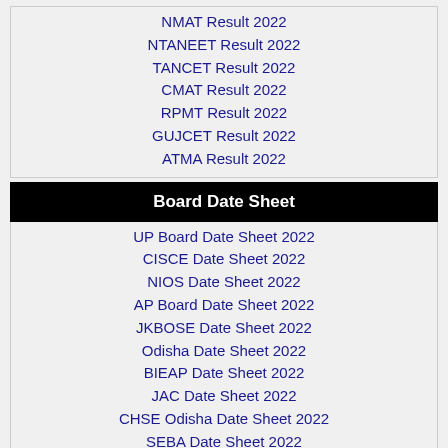NMAT Result 2022
NTANEET Result 2022
TANCET Result 2022
CMAT Result 2022
RPMT Result 2022
GUJCET Result 2022
ATMA Result 2022
Board Date Sheet
UP Board Date Sheet 2022
CISCE Date Sheet 2022
NIOS Date Sheet 2022
AP Board Date Sheet 2022
JKBOSE Date Sheet 2022
Odisha Date Sheet 2022
BIEAP Date Sheet 2022
JAC Date Sheet 2022
CHSE Odisha Date Sheet 2022
SEBA Date Sheet 2022
KSEEB Date Sheet 2022